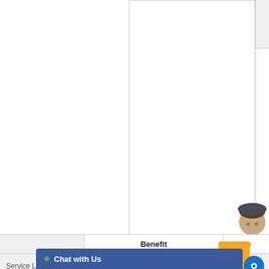[Figure (screenshot): White document/card panel in center of page, partially visible]
| Service Life | Benefit | Be... |
| --- | --- | --- |
| Service Life | Longer Life (vs. Standard Copper Plugs) |  |
[Figure (illustration): Orange scroll-to-top button with double chevron arrow, overlapping table header]
[Figure (illustration): Blue circular chat bubble button at bottom right]
Chat with Us